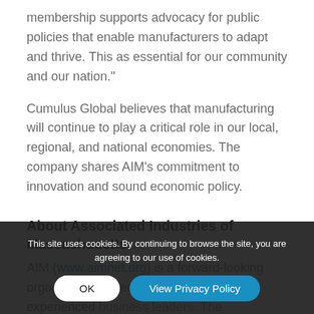membership supports advocacy for public policies that enable manufacturers to adapt and thrive. This as essential for our community and our nation."
Cumulus Global believes that manufacturing will continue to play a critical role in our local, regional, and national economies. The company shares AIM's commitment to innovation and sound economic policy.
About Associated Industries of Massachusetts
AIM (www.aimnet.org) is a forward-looking organization of dedicated, focused, and experienced business leaders. The association works to support public policy and provide services that enable jobs creation and... AIM focuses on public policy... delivery.
This site uses cookies. By continuing to browse the site, you are agreeing to our use of cookies.